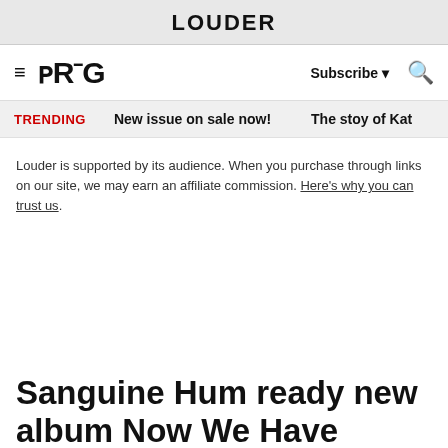LOUDER
PROG  Subscribe ▾  🔍
TRENDING  New issue on sale now!  The stoy of Kat
Louder is supported by its audience. When you purchase through links on our site, we may earn an affiliate commission. Here's why you can trust us.
Sanguine Hum ready new album Now We Have Power